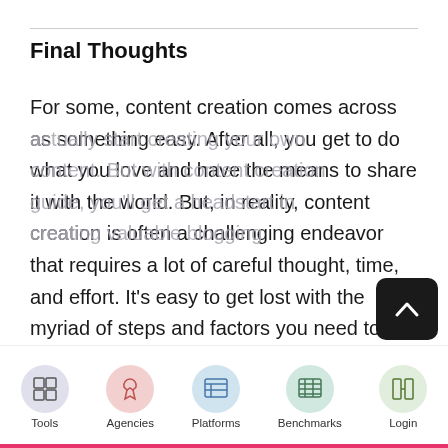Final Thoughts
For some, content creation comes across as something easy. After all, you get to do what you love and have the means to share it with the world. But, in reality, content creation is often a challenging endeavor that requires a lot of careful thought, time, and effort. It’s easy to get lost with the myriad of steps and factors you need to consider before you can actually start creating your own content. But with our content creation guide, you’ll get a headstart in successfully establishing blogging
Tools | Agencies | Platforms | Benchmarks | Login